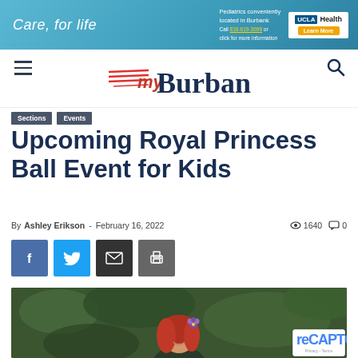[Figure (other): UCLA Health advertisement banner with 'Care, for life' tagline on blue gradient background. Text: 'Pediatrics conveniently located in Burbank. Call 818-619-3698 or click for more information.' UCLA Health logo with Learn More button.]
[Figure (logo): myBurbank news site logo with red speed-line marks and bold navy blue text reading 'myBurbank'. Hamburger menu icon on left, search icon on right.]
Sections   Events
Upcoming Royal Princess Ball Event for Kids
By Ashley Erikson - February 16, 2022   1640   0
[Figure (other): Social share buttons row: Facebook (blue), Twitter (cyan), Email (dark), Print (gray)]
[Figure (photo): Partial photo of a woman with red hair and a purple flower in her hair, smiling, with blurred green foliage background. reCAPTCHA badge visible in bottom right corner.]